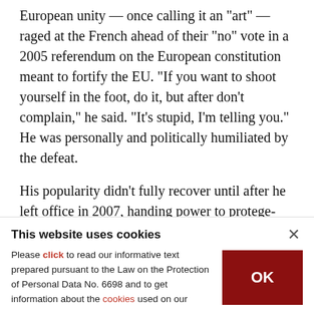European unity — once calling it an "art" — raged at the French ahead of their "no" vote in a 2005 referendum on the European constitution meant to fortify the EU. "If you want to shoot yourself in the foot, do it, but after don't complain," he said. "It's stupid, I'm telling you." He was personally and politically humiliated by the defeat.
His popularity didn't fully recover until after he left office in 2007, handing power to protege-turned-rival Nicolas Sarkozy.
This website uses cookies
Please click to read our informative text prepared pursuant to the Law on the Protection of Personal Data No. 6698 and to get information about the cookies used on our